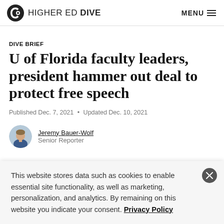HIGHER ED DIVE | MENU
DIVE BRIEF
U of Florida faculty leaders, president hammer out deal to protect free speech
Published Dec. 7, 2021 • Updated Dec. 10, 2021
Jeremy Bauer-Wolf
Senior Reporter
This website stores data such as cookies to enable essential site functionality, as well as marketing, personalization, and analytics. By remaining on this website you indicate your consent. Privacy Policy